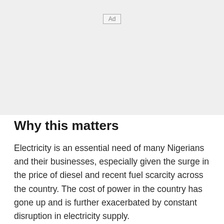[Figure (other): Advertisement placeholder box labeled 'Ad' on a light gray background]
Why this matters
Electricity is an essential need of many Nigerians and their businesses, especially given the surge in the price of diesel and recent fuel scarcity across the country. The cost of power in the country has gone up and is further exacerbated by constant disruption in electricity supply.